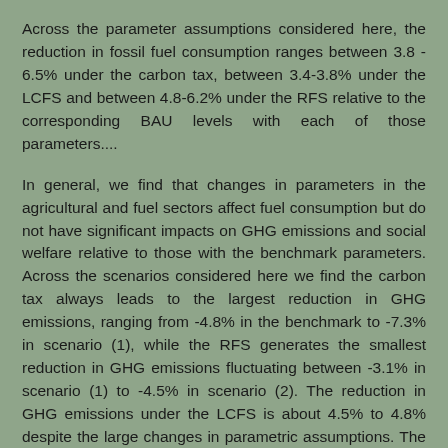Across the parameter assumptions considered here, the reduction in fossil fuel consumption ranges between 3.8 - 6.5% under the carbon tax, between 3.4-3.8% under the LCFS and between 4.8-6.2% under the RFS relative to the corresponding BAU levels with each of those parameters....
In general, we find that changes in parameters in the agricultural and fuel sectors affect fuel consumption but do not have significant impacts on GHG emissions and social welfare relative to those with the benchmark parameters. Across the scenarios considered here we find the carbon tax always leads to the largest reduction in GHG emissions, ranging from -4.8% in the benchmark to -7.3% in scenario (1), while the RFS generates the smallest reduction in GHG emissions fluctuating between -3.1% in scenario (1) to -4.5% in scenario (2). The reduction in GHG emissions under the LCFS is about 4.5% to 4.8% despite the large changes in parametric assumptions. The larger reduction in GHG emissions under the LCFS occurs when the elasticity of supply of gasoline is relatively larger.
...